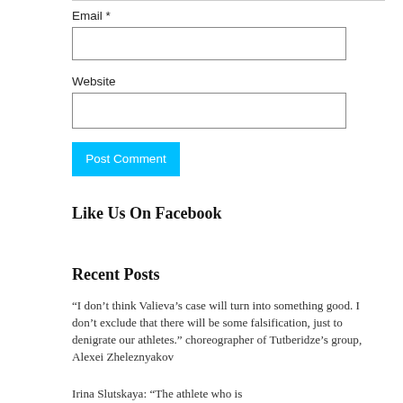Email *
Website
Post Comment
Like Us On Facebook
Recent Posts
“I don’t think Valieva’s case will turn into something good. I don’t exclude that there will be some falsification, just to denigrate our athletes.” choreographer of Tutberidze’s group, Alexei Zheleznyakov
Irina Slutskaya: “The athlete who is